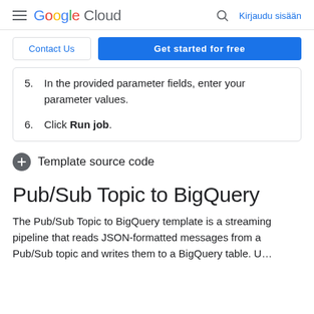Google Cloud — Kirjaudu sisään
5. In the provided parameter fields, enter your parameter values.
6. Click Run job.
Template source code
Pub/Sub Topic to BigQuery
The Pub/Sub Topic to BigQuery template is a streaming pipeline that reads JSON-formatted messages from a Pub/Sub topic and writes them to a BigQuery table. U…